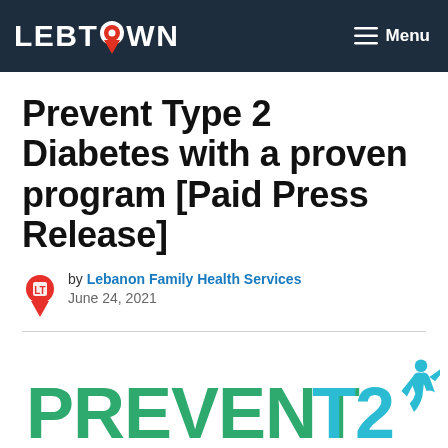LEBTOWN — Menu
Prevent Type 2 Diabetes with a proven program [Paid Press Release]
by Lebanon Family Health Services
June 24, 2021
[Figure (logo): Prevent T2 logo — green 'PREVENT' and teal 'T2' with a stylized human figure, tagline: A PROVEN PROGRAM TO PREVENT OR DELAY TYPE 2 DIABETES]